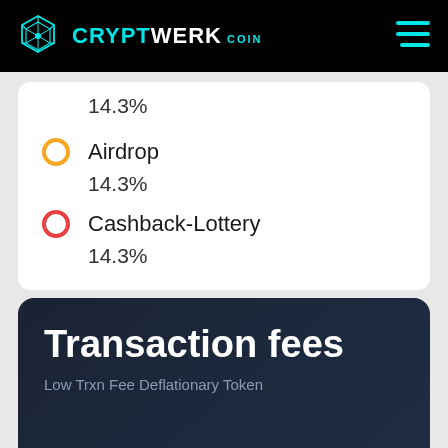CRYPTWERK COIN
14.3%
Airdrop — 14.3%
Cashback-Lottery — 14.3%
Transaction fees
Low Trxn Fee Deflationary Token